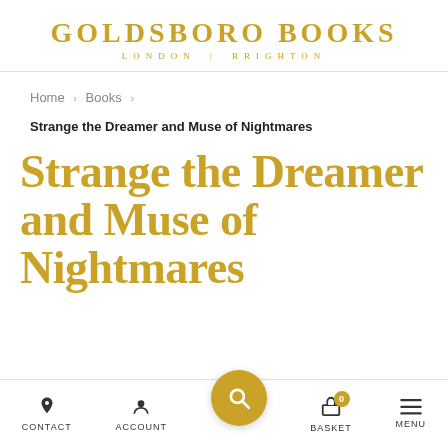GOLDSBORO BOOKS
LONDON | BRIGHTON
Home > Books >
Strange the Dreamer and Muse of Nightmares
Strange the Dreamer and Muse of Nightmares
CONTACT   ACCOUNT   [SEARCH]   BASKET 0   MENU